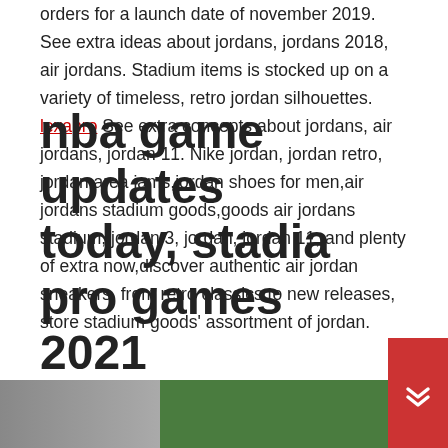orders for a launch date of november 2019. See extra ideas about jordans, jordans 2018, air jordans. Stadium items is stocked up on a variety of timeless, retro jordan silhouettes. lexapro See extra concepts about jordans, air jordans, jordan 11. Nike jordan, jordan retro, jordan area jams,jordan shoes for men,air jordans stadium goods,goods air jordans stadium, jordan 3, jordan, jordan 11, and plenty of extra now,discover authentic air jordan sneakers, from retro classics to new releases, store stadium goods' assortment of jordan.
nba game updates today, stadia pro games 2021